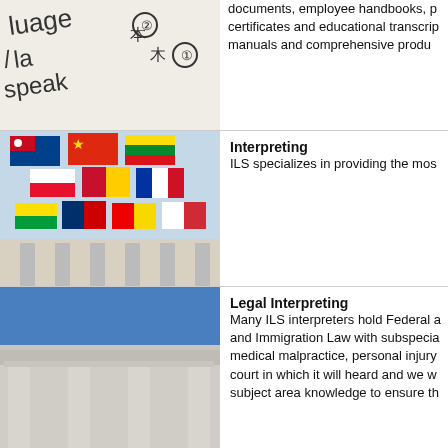[Figure (photo): Close-up of handwritten text with language-related words including 'language', 'speak', Japanese characters, and numbered circles]
documents, employee handbooks, p… certificates and educational transcri… manuals and comprehensive produ…
[Figure (photo): Photo of many colorful international flags hanging from a building, including flags of various nations]
Interpreting
ILS specializes in providing the mos…
[Figure (photo): Photo of a court building or government building with classical columns against a blue sky, viewed from below]
Legal Interpreting
Many ILS interpreters hold Federal a… and Immigration Law with subspecia… medical malpractice, personal injury… court in which it will heard and we w… subject area knowledge to ensure th…
[Figure (photo): Photo of an elderly Asian man, cropped showing head and shoulders]
Medical interpreting
ILS is extremely involved in the prof… in a large for a review of the…